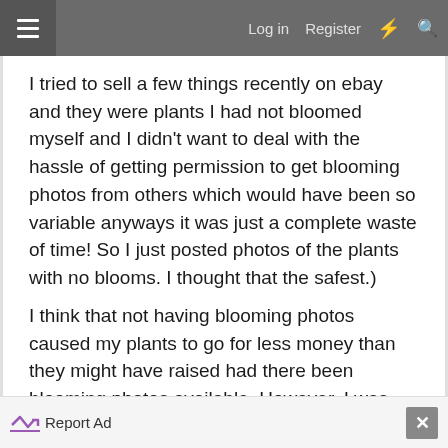Log in  Register
I tried to sell a few things recently on ebay and they were plants I had not bloomed myself and I didn't want to deal with the hassle of getting permission to get blooming photos from others which would have been so variable anyways it was just a complete waste of time! So I just posted photos of the plants with no blooms. I thought that the safest.)
I think that not having blooming photos caused my plants to go for less money than they might have raised had there been blooming photos available. However, I was not interested in the money as much as getting some good feedback. The tactic was not my focus, but I think it is for many!
Report Ad